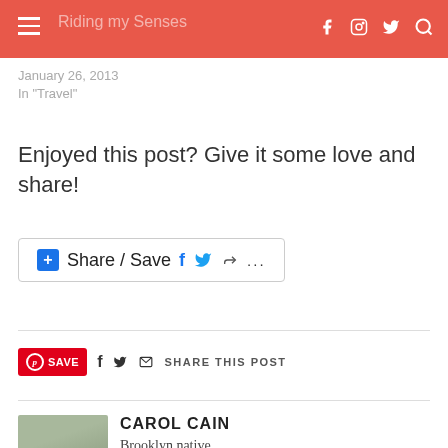Header navigation bar with hamburger menu, logo, social icons (Facebook, Instagram, Twitter), and search
January 26, 2013
In "Travel"
Enjoyed this post? Give it some love and share!
[Figure (screenshot): Share / Save button with Facebook, Twitter, forward, and more icons]
[Figure (infographic): Social sharing row: Pinterest SAVE button, Facebook icon, Twitter icon, mail icon, SHARE THIS POST label]
CAROL CAIN
Brooklyn native